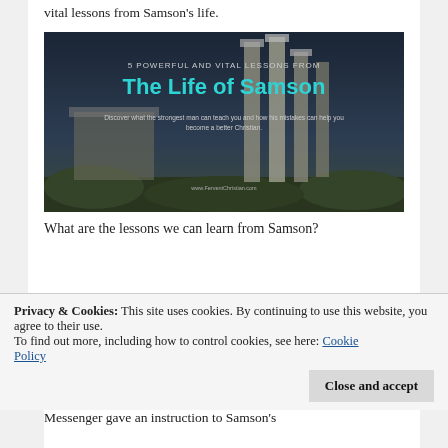vital lessons from Samson's life.
[Figure (illustration): Book cover image with ancient ruins/columns in background, dark sky. Text reads: '5 POWERFUL AND VITAL LESSONS FROM The Life of Samson. Discover what the strongest man can teach you and how his mistakes can help you become a better Christian. www.FerventChristian.com']
What are the lessons we can learn from Samson?
Privacy & Cookies: This site uses cookies. By continuing to use this website, you agree to their use.
To find out more, including how to control cookies, see here: Cookie Policy
Messenger gave an instruction to Samson's